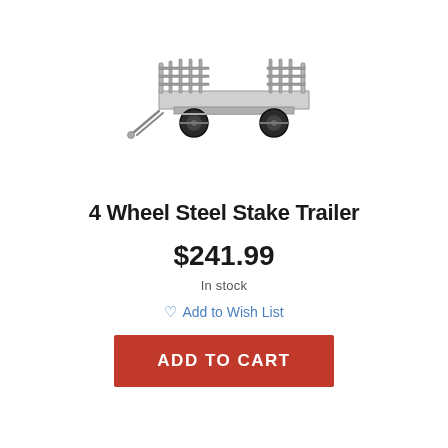[Figure (illustration): 4-wheel steel stake trailer product image, showing a flatbed trailer with metal stake sides, a tongue/hitch, and four large black rubber tires]
4 Wheel Steel Stake Trailer
$241.99
In stock
Add to Wish List
ADD TO CART